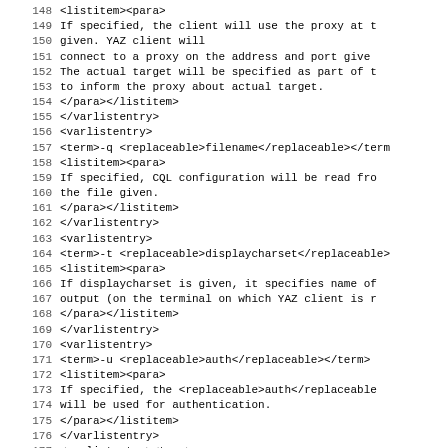Lines 148–179 of XML source code showing varlistentry elements with term, listitem, para tags for proxy, -q filename, -t displaycharset, -u auth, and -v level options.